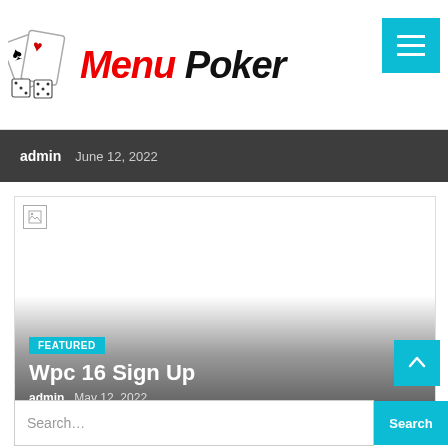Menu Poker
admin   June 12, 2022
[Figure (screenshot): Featured article card with broken image placeholder, gradient overlay, FEATURED badge, title 'Wpc 16 Sign Up', and byline admin May 12, 2022]
FEATURED
Wpc 16 Sign Up
admin   May 12, 2022